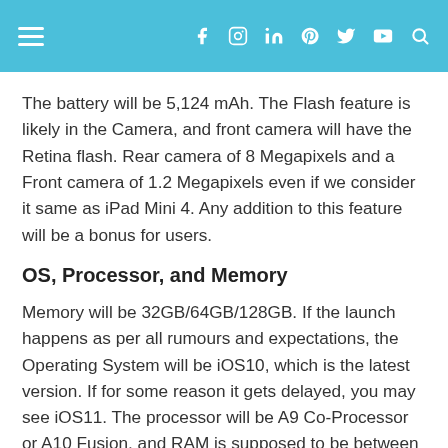Navigation bar with menu and social icons
The battery will be 5,124 mAh. The Flash feature is likely in the Camera, and front camera will have the Retina flash. Rear camera of 8 Megapixels and a Front camera of 1.2 Megapixels even if we consider it same as iPad Mini 4. Any addition to this feature will be a bonus for users.
OS, Processor, and Memory
Memory will be 32GB/64GB/128GB. If the launch happens as per all rumours and expectations, the Operating System will be iOS10, which is the latest version. If for some reason it gets delayed, you may see iOS11. The processor will be A9 Co-Processor or A10 Fusion, and RAM is supposed to be between 2 GB and 4 GB. The freelance web developers should take note of these features as it affects their work directly and they